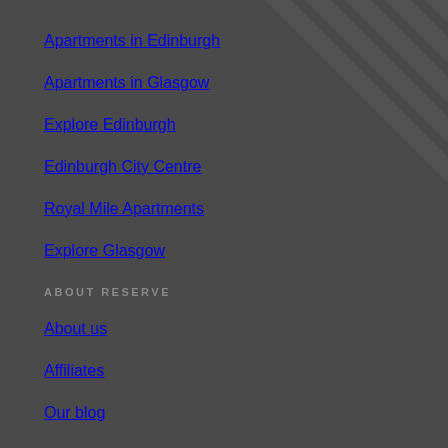Apartments in Edinburgh
Apartments in Glasgow
Explore Edinburgh
Edinburgh City Centre
Royal Mile Apartments
Explore Glasgow
ABOUT RESERVE
About us
Affiliates
Our blog
Help centre
Contact us
PROPERTY OWNERS